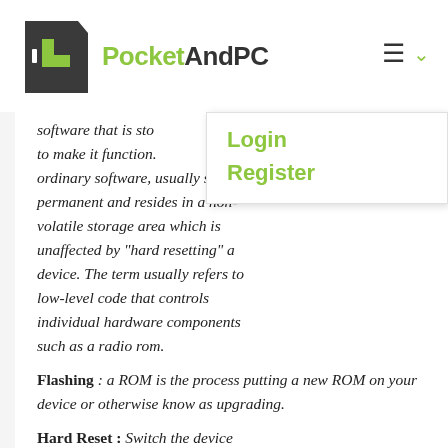PocketAndPC
software that is sto... to make it function. ordinary software, usually semi-permanent and resides in a non-volatile storage area which is unaffected by "hard resetting" a device. The term usually refers to low-level code that controls individual hardware components such as a radio rom.
Login
Register
Flashing : a ROM is the process putting a new ROM on your device or otherwise know as upgrading.
Hard Reset : Switch the device